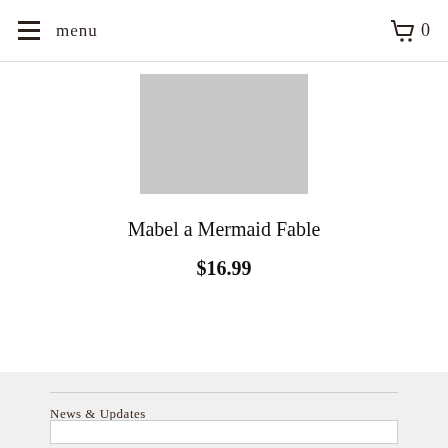menu  0
[Figure (photo): Gray placeholder rectangle representing a product image for Mabel a Mermaid Fable]
Mabel a Mermaid Fable
$16.99
News & Updates
Sign up to get the latest on our newest collections, pop-up sales and more...